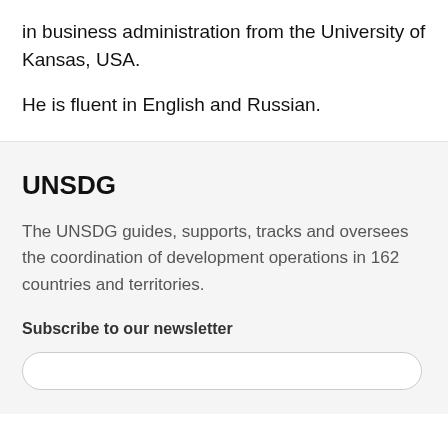in business administration from the University of Kansas, USA.
He is fluent in English and Russian.
UNSDG
The UNSDG guides, supports, tracks and oversees the coordination of development operations in 162 countries and territories.
Subscribe to our newsletter